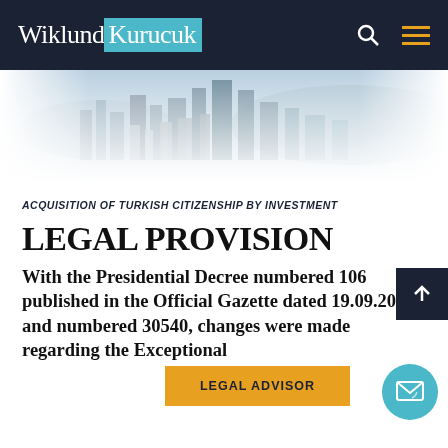Wiklund Kurucuk
[Figure (photo): City skyline photo of Istanbul with buildings and hills in the background, fading to white at the bottom]
ACQUISITION OF TURKISH CITIZENSHIP BY INVESTMENT
LEGAL PROVISION
With the Presidential Decree numbered 106 published in the Official Gazette dated 19.09.2018 and numbered 30540, changes were made regarding the Exceptional